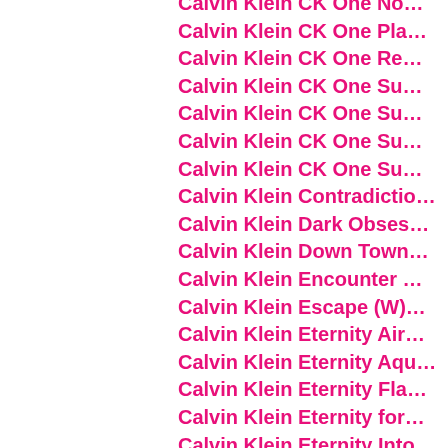Calvin Klein CK One No…
Calvin Klein CK One Pla…
Calvin Klein CK One Re…
Calvin Klein CK One Su…
Calvin Klein CK One Su…
Calvin Klein CK One Su…
Calvin Klein CK One Su…
Calvin Klein Contradictio…
Calvin Klein Dark Obses…
Calvin Klein Down Town…
Calvin Klein Encounter …
Calvin Klein Escape (W)…
Calvin Klein Eternity Air…
Calvin Klein Eternity Aqu…
Calvin Klein Eternity Fla…
Calvin Klein Eternity for…
Calvin Klein Eternity Into…
Calvin Klein Eternity Mo…
Calvin Klein Eternity No…
Calvin Klein Eternity Su…
Calvin Klein Eternity Su…
Calvin Klein Eternity Su…
Calvin Klein Eternity Su…
Calvin Klein Eternity Su…